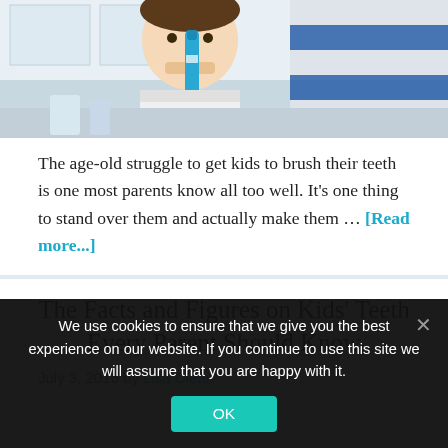[Figure (photo): Child brushing teeth with blue toothbrush/toothpaste tube, person in blue and white striped shirt in background, kitchen setting]
The age-old struggle to get kids to brush their teeth is one most parents know all too well. It's one thing to stand over them and actually make them … [Read more...]
The Facts and Figures on Kids' Teeth Every Parent Should Know
July 3, 2016 by Lisa Clean
We use cookies to ensure that we give you the best experience on our website. If you continue to use this site we will assume that you are happy with it.